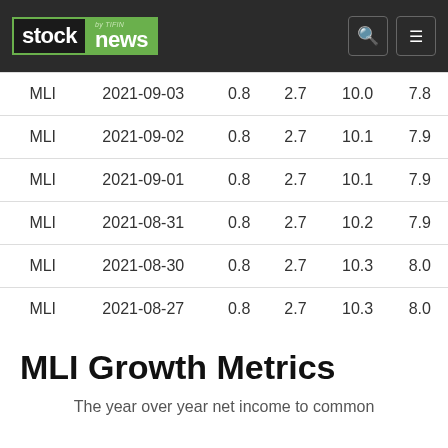stock news by TIFIN
| MLI | 2021-09-03 | 0.8 | 2.7 | 10.0 | 7.8 |
| MLI | 2021-09-02 | 0.8 | 2.7 | 10.1 | 7.9 |
| MLI | 2021-09-01 | 0.8 | 2.7 | 10.1 | 7.9 |
| MLI | 2021-08-31 | 0.8 | 2.7 | 10.2 | 7.9 |
| MLI | 2021-08-30 | 0.8 | 2.7 | 10.3 | 8.0 |
| MLI | 2021-08-27 | 0.8 | 2.7 | 10.3 | 8.0 |
MLI Growth Metrics
The year over year net income to common shareholders grew by about 44.5%...